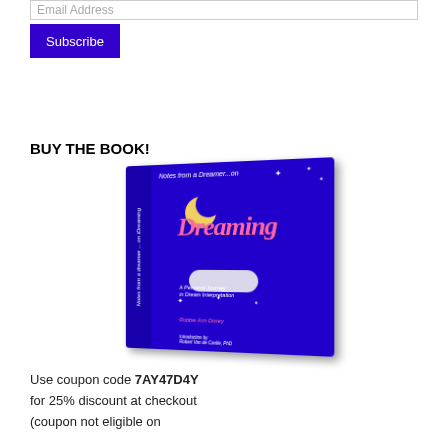Email Address
Subscribe
BUY THE BOOK!
[Figure (photo): Book cover of 'Notes from a Dreamer...on Dreaming: A Personal Journey in Dream Interpretation' by Robbie Ann Dosey, foreword by Robert Van de Castle, PhD. Blue cover with pink 'Dreaming' title text, moon and cloud illustration.]
Use coupon code 7AY47D4Y for 25% discount at checkout (coupon not eligible on